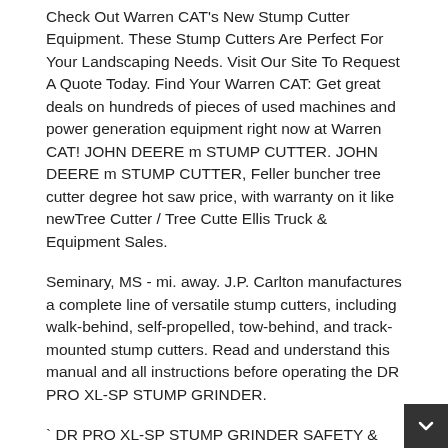Check Out Warren CAT's New Stump Cutter Equipment. These Stump Cutters Are Perfect For Your Landscaping Needs. Visit Our Site To Request A Quote Today. Find Your Warren CAT: Get great deals on hundreds of pieces of used machines and power generation equipment right now at Warren CAT! JOHN DEERE m STUMP CUTTER. JOHN DEERE m STUMP CUTTER, Feller buncher tree cutter degree hot saw price, with warranty on it like newTree Cutter / Tree Cutte Ellis Truck & Equipment Sales.
Seminary, MS - mi. away. J.P. Carlton manufactures a complete line of versatile stump cutters, including walk-behind, self-propelled, tow-behind, and track-mounted stump cutters. Read and understand this manual and all instructions before operating the DR PRO XL-SP STUMP GRINDER.
` DR PRO XL-SP STUMP GRINDER SAFETY & OPERATING INSTRUCTIONS Serial No. Order No. DR Power Equipment Toll-free phone: DR-OWNERFax: Website: shrubhauling.buzz D Stump cutter with 4WD and diesel engine FSI D42 is a stump cutter for tasks that require much more mobility on terrain. This, together with the cutting width of mm and the powerful diesel engine with 42 HP and More at some...